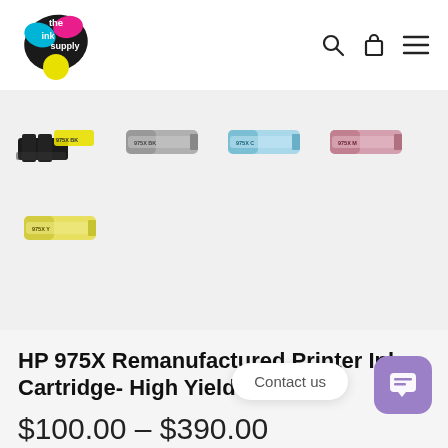[Figure (logo): The Ink Supply logo with colorful ink splatter design in black, pink, cyan and yellow]
[Figure (photo): HP 975X ink cartridge product photos: set of 4 (black, grey/black, cyan, magenta) and 1 yellow cartridge]
HP 975X Remanufactured Printer Ink Cartridge- High Yield
$100.00 – $390.00